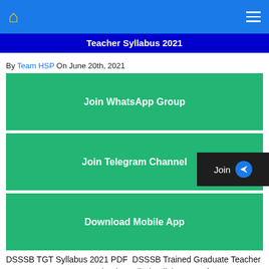Teacher Syllabus 2021
By Team HSP On June 20th, 2021
[Figure (other): Join WhatsApp Group green button]
[Figure (other): Join Telegram Channel green button with Join popup]
[Figure (other): Download Mobile App green button]
DSSSB TGT Syllabus 2021 PDF  DSSSB Trained Graduate Teacher Exam Pattern 2021 Download Detailed Syllabus PDF for DSSSB TGT Selection Process for DSSSB TGT 2021 DSSSB TGT Minimum Qualifying Marks 2021 How to Prepare for DSSSB Trained Graduate Teacher 2021